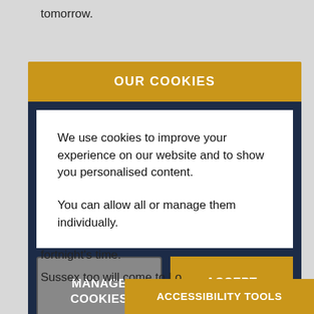tomorrow.
OUR COOKIES
We use cookies to improve your experience on our website and to show you personalised content.

You can allow all or manage them individually.
MANAGE COOKIES
ACCEPT ALL
fortnight's time.
Sussex too will come to Lo
ACCESSIBILITY TOOLS